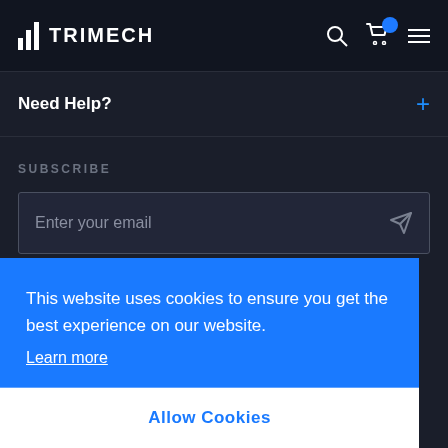TRIMECH
Need Help?
SUBSCRIBE
Enter your email
Enter your email to join our newsletter and stay up to date on
This website uses cookies to ensure you get the best experience on our website. Learn more
Allow Cookies